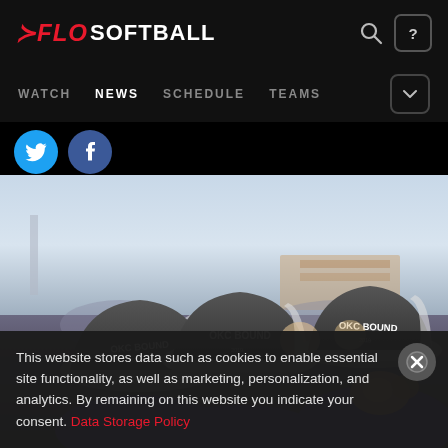FLOSOFTBALL — WATCH NEWS SCHEDULE TEAMS
[Figure (photo): Three softball players wearing grey 'OKC BOUND' caps, heads tilted down, wearing purple shirts, outdoors at a stadium]
This website stores data such as cookies to enable essential site functionality, as well as marketing, personalization, and analytics. By remaining on this website you indicate your consent. Data Storage Policy